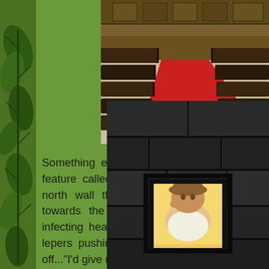[Figure (photo): Interior of a church or cathedral with dark wooden pews and a red carpet runner running down the center aisle, viewed from above at an angle.]
Something else that caught our eye was a feature called a hole in the thick limestone north wall that allowed medi and look in towards the altar. They could thereby pa infecting healthy townspeople. I imagine the lepers pushin in as bits of their bodies fell off..."I'd give my right arm to lo
[Figure (photo): A person wearing a brown hat looking through a small square hole (leper squint) in a thick dark stone wall, illuminated from behind.]